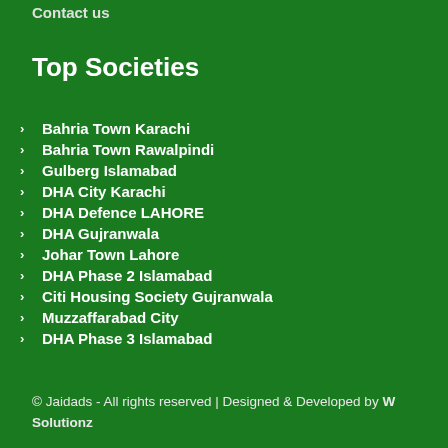Contact us
Top Societies
Bahria Town Karachi
Bahria Town Rawalpindi
Gulberg Islamabad
DHA City Karachi
DHA Defence LAHORE
DHA Gujranwala
Johar Town Lahore
DHA Phase 2 Islamabad
Citi Housing Society Gujranwala
Muzzaffarabad City
DHA Phase 3 Islamabad
© Jaidads - All rights reserved | Designed & Developed by W Solutionz